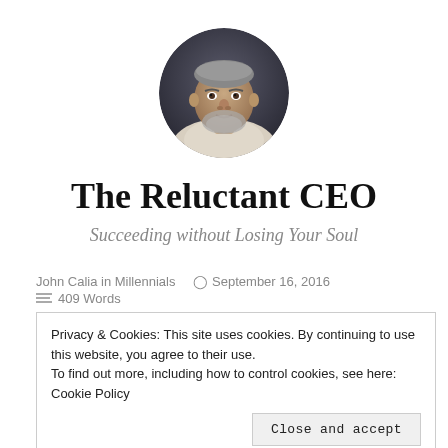[Figure (photo): Circular profile photo of a middle-aged man with grey hair and beard, wearing a light-colored sweater, against a dark background.]
The Reluctant CEO
Succeeding without Losing Your Soul
John Calia in Millennials   September 16, 2016   409 Words
Privacy & Cookies: This site uses cookies. By continuing to use this website, you agree to their use.
To find out more, including how to control cookies, see here: Cookie Policy
Close and accept
life